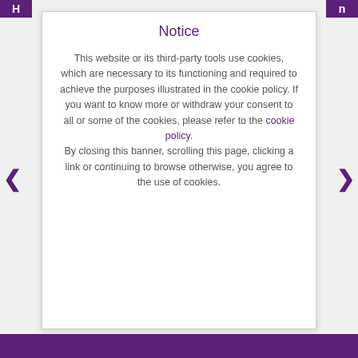H … n
Notice
This website or its third-party tools use cookies, which are necessary to its functioning and required to achieve the purposes illustrated in the cookie policy. If you want to know more or withdraw your consent to all or some of the cookies, please refer to the cookie policy.
By closing this banner, scrolling this page, clicking a link or continuing to browse otherwise, you agree to the use of cookies.